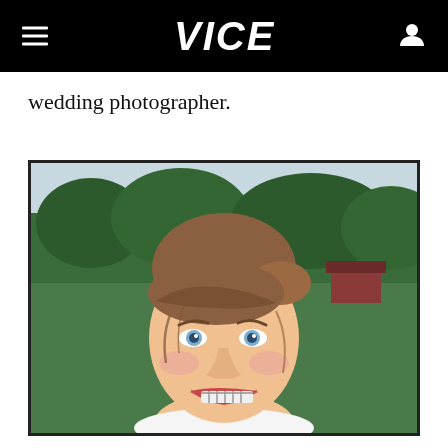VICE
wedding photographer.
[Figure (photo): Portrait photograph of a smiling young woman with braces and brown hair pulled back, wearing a white tank top, outdoors with green trees and sky in the background.]